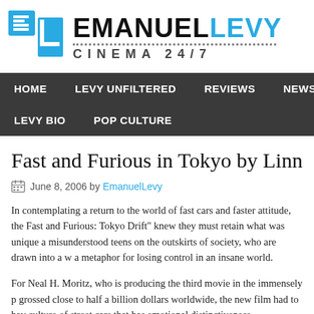[Figure (logo): EmanuelLevy Cinema 24/7 website logo with blue E and L block letters icon]
HOME   LEVY UNFILTERED   REVIEWS   NEWS   OSCA   LEVY BIO   POP CULTURE
Fast and Furious in Tokyo by Linn
June 8, 2006 by EmanuelLevy
In contemplating a return to the world of fast cars and faster attitude, the Fast and Furious: Tokyo Drift" knew they must retain what was unique a misunderstood teens on the outskirts of society, who are drawn into a w a metaphor for losing control in an insane world.
For Neal H. Moritz, who is producing the third movie in the immensely p grossed close to half a billion dollars worldwide, the new film had to hav culture of street cars that has emotional distinctiveness...